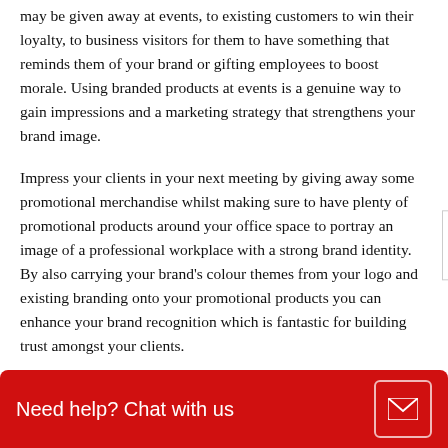may be given away at events, to existing customers to win their loyalty, to business visitors for them to have something that reminds them of your brand or gifting employees to boost morale. Using branded products at events is a genuine way to gain impressions and a marketing strategy that strengthens your brand image.
Impress your clients in your next meeting by giving away some promotional merchandise whilst making sure to have plenty of promotional products around your office space to portray an image of a professional workplace with a strong brand identity. By also carrying your brand's colour themes from your logo and existing branding onto your promotional products you can enhance your brand recognition which is fantastic for building trust amongst your clients.
Have you got a new employee joining your company soon?
Need help? Chat with us